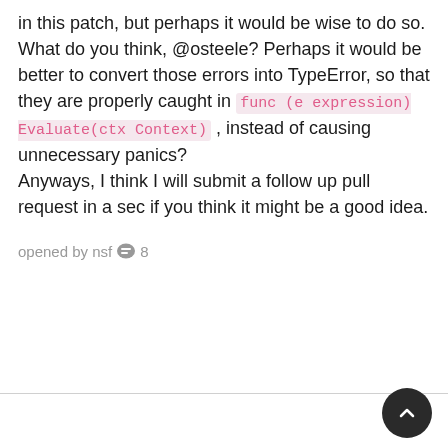in this patch, but perhaps it would be wise to do so. What do you think, @osteele? Perhaps it would be better to convert those errors into TypeError, so that they are properly caught in func (e expression) Evaluate(ctx Context) , instead of causing unnecessary panics? Anyways, I think I will submit a follow up pull request in a sec if you think it might be a good idea.
opened by nsf 💬 8